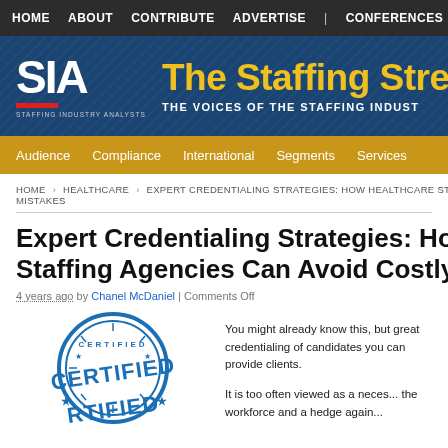HOME  ABOUT  CONTRIBUTE  ADVERTISE  |  CONFERENCES
[Figure (logo): SIA - Staffing Industry Analysts logo with red bar, alongside 'The Staffing Stre[am]' title in gold and 'THE VOICES OF THE STAFFING INDUST[RY]' subtitle in white on dark blue background]
Audience  Compliance  International  Segments  Services
HOME › HEALTHCARE › EXPERT CREDENTIALING STRATEGIES: HOW HEALTHCARE STA... MISTAKES
Expert Credentialing Strategies: Ho[w Healthcare] Staffing Agencies Can Avoid Costly[Mistakes]
4 years ago by Chanel McDaniel | Comments Off
[Figure (illustration): Blue certified stamp/seal graphic with 'CERTIFIED' text in bold letters and star decorations]
You might already know this, but great credentialing of candidates you can provide clients.

It is too often viewed as a neces... the workforce and a hedge again...